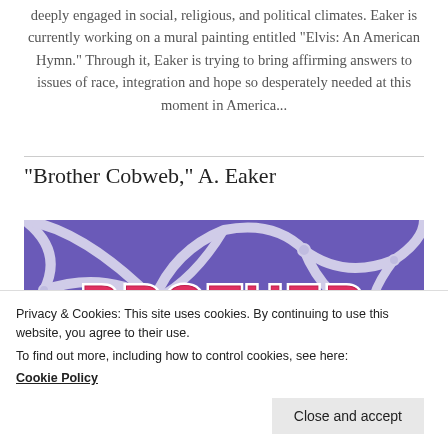deeply engaged in social, religious, and political climates. Eaker is currently working on a mural painting entitled “Elvis: An American Hymn.” Through it, Eaker is trying to bring affirming answers to issues of race, integration and hope so desperately needed at this moment in America...
“Brother Cobweb,” A. Eaker
[Figure (illustration): Artwork showing a purple cobweb-like pattern with the word BROTHER written in large red block letters with white outlines]
Privacy & Cookies: This site uses cookies. By continuing to use this website, you agree to their use.
To find out more, including how to control cookies, see here: Cookie Policy